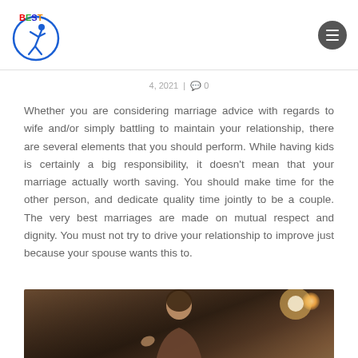BEST [logo with figure] | menu button
4, 2021  |  0
Whether you are considering marriage advice with regards to wife and/or simply battling to maintain your relationship, there are several elements that you should perform. While having kids is certainly a big responsibility, it doesn't mean that your marriage actually worth saving. You should make time for the other person, and dedicate quality time jointly to be a couple. The very best marriages are made on mutual respect and dignity. You must not try to drive your relationship to improve just because your spouse wants this to.
[Figure (photo): Photo of a woman with dark hair in a warmly lit room, with a lamp glowing in the background]